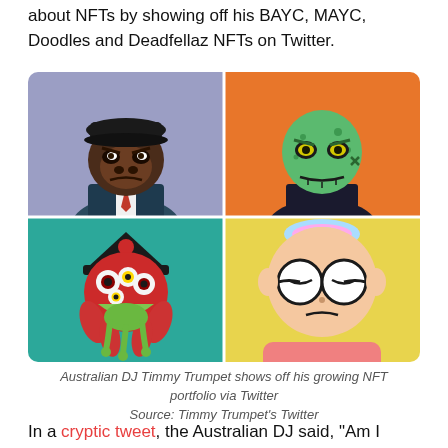about NFTs by showing off his BAYC, MAYC, Doodles and Deadfellaz NFTs on Twitter.
[Figure (illustration): A 2x2 grid of NFT avatar images: top-left shows a Bored Ape Yacht Club ape in a suit with a cap on lavender background; top-right shows a green zombie-like Mutant Ape on orange background; bottom-left shows a psychedelic creature (Deadfellaz style) on teal/green background; bottom-right shows a simple cartoon character with large round glasses on yellow background (Doodles style).]
Australian DJ Timmy Trumpet shows off his growing NFT portfolio via Twitter
Source: Timmy Trumpet's Twitter
In a cryptic tweet, the Australian DJ said, "Am I gonna